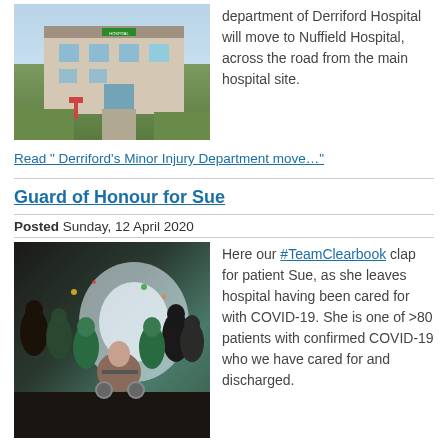[Figure (photo): Exterior photo of Derriford Hospital building with greenery and parking barrier]
department of Derriford Hospital will move to Nuffield Hospital, across the road from the main hospital site.
Read " Derriford's Minor Injury Department move…"
Guard of Honour for Sue
Posted Sunday, 12 April 2020
[Figure (photo): Crowd of hospital staff in green scrubs clapping as patient Sue leaves in wheelchair]
Here our #TeamClearbook clap for patient Sue, as she leaves hospital having been cared for with COVID-19. She is one of >80 patients with confirmed COVID-19 who we have cared for and discharged.
Read " Guard of Honour for Sue…"